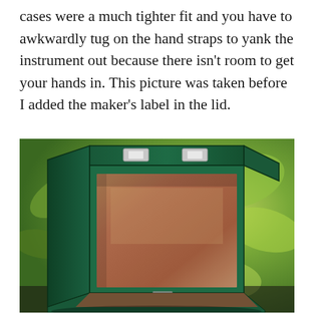cases were a much tighter fit and you have to awkwardly tug on the hand straps to yank the instrument out because there isn't room to get your hands in. This picture was taken before I added the maker's label in the lid.
[Figure (photo): Open green instrument case with brown suede interior lining, photographed outdoors against a leafy green background. The case is open showing the empty interior. Silver clasps visible on the top edge.]